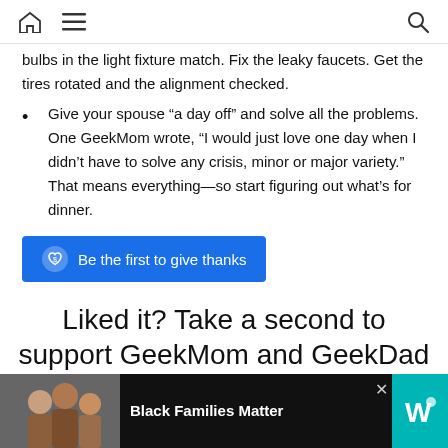Home Menu Search
bulbs in the light fixture match. Fix the leaky faucets. Get the tires rotated and the alignment checked.
Give your spouse “a day off” and solve all the problems. One GeekMom wrote, “I would just love one day when I didn’t have to solve any crisis, minor or major variety.” That means everything—so start figuring out what’s for dinner.
Be the first to give thanks
Liked it? Take a second to support GeekMom and GeekDad on Patreon!
[Figure (photo): Advertisement banner: Black Families Matter with photo of family and logo]